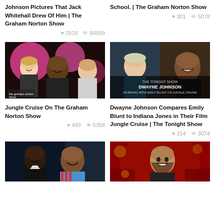Johnson Pictures That Jack Whitehall Drew Of Him | The Graham Norton Show
♥ 2918  👁 84599
School. | The Graham Norton Show
♥ 301  👁 5078
[Figure (photo): Group of people laughing on The Graham Norton Show set with pink background lights]
Jungle Cruise On The Graham Norton Show
♥ 499  👁 5358
[Figure (photo): The Tonight Show thumbnail: Dwayne Johnson Working with Emily Blunt on Jungle Cruise]
Dwayne Johnson Compares Emily Blunt to Indiana Jones in Their Film Jungle Cruise | The Tonight Show
♥ 314  👁 3074
[Figure (photo): Two men laughing together on a late night show set]
[Figure (photo): Man laughing on The Graham Norton Show with red background]